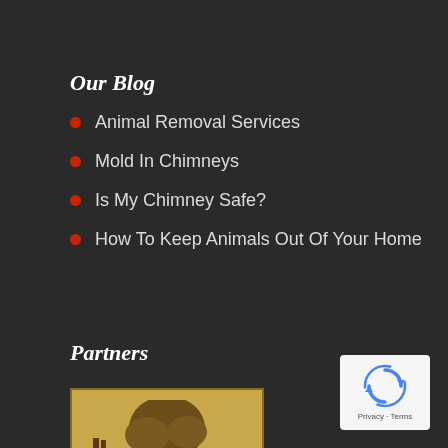Our Blog
Animal Removal Services
Mold In Chimneys
Is My Chimney Safe?
How To Keep Animals Out Of Your Home
Partners
[Figure (logo): Bishop Hearth & Home - Tasteful Outdoor Living logo with brown/gold color scheme featuring a tree and outdoor furniture illustration]